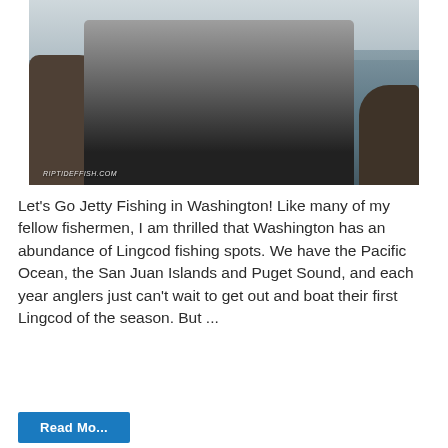[Figure (photo): Person holding a large Lingcod fish while sitting on rocks near water. Watermark reads RIPTIDEFFISH.COM at the bottom left.]
Let's Go Jetty Fishing in Washington! Like many of my fellow fishermen, I am thrilled that Washington has an abundance of Lingcod fishing spots. We have the Pacific Ocean, the San Juan Islands and Puget Sound, and each year anglers just can't wait to get out and boat their first Lingcod of the season. But ...